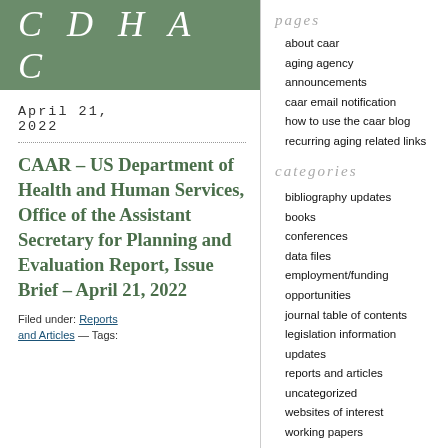CDHA C
April 21, 2022
CAAR – US Department of Health and Human Services, Office of the Assistant Secretary for Planning and Evaluation Report, Issue Brief – April 21, 2022
Filed under: Reports and Articles — Tags:
pages
about caar
aging agency announcements
caar email notification
how to use the caar blog
recurring aging related links
categories
bibliography updates
books
conferences
data files
employment/funding opportunities
journal table of contents
legislation information updates
reports and articles
uncategorized
websites of interest
working papers
august 2022
| S | M | T | W | T | F | S |
| --- | --- | --- | --- | --- | --- | --- |
|  | 1 | 2 | 3 | 4 | 5 | 6 |